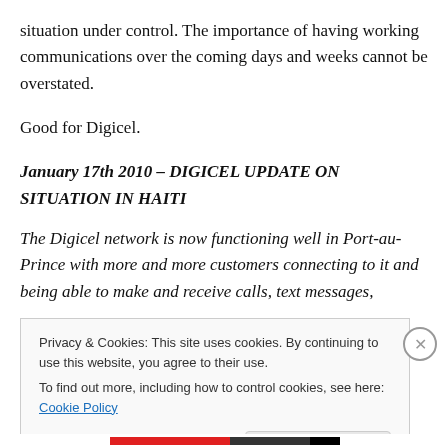situation under control. The importance of having working communications over the coming days and weeks cannot be overstated.
Good for Digicel.
January 17th 2010 – DIGICEL UPDATE ON SITUATION IN HAITI
The Digicel network is now functioning well in Port-au-Prince with more and more customers connecting to it and being able to make and receive calls, text messages,
Privacy & Cookies: This site uses cookies. By continuing to use this website, you agree to their use.
To find out more, including how to control cookies, see here: Cookie Policy